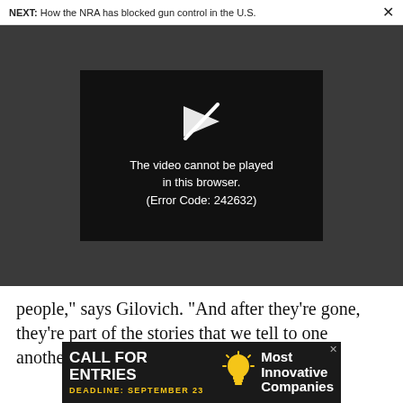NEXT: How the NRA has blocked gun control in the U.S.
[Figure (screenshot): Video player showing error message: 'The video cannot be played in this browser. (Error Code: 242632)']
people,” says Gilovich. “And after they’re gone, they’re part of the stories that we tell to one another.”
ADVERTISEMENT
[Figure (infographic): Advertisement banner: CALL FOR ENTRIES, DEADLINE: SEPTEMBER 23, Most Innovative Companies]